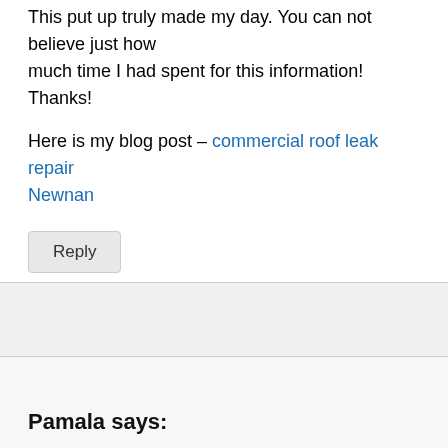This put up truly made my day. You can not believe just how much time I had spent for this information! Thanks!
Here is my blog post – commercial roof leak repair Newnan
Reply
Pamala says:
Useful info. Lucky me I discovered your web site by